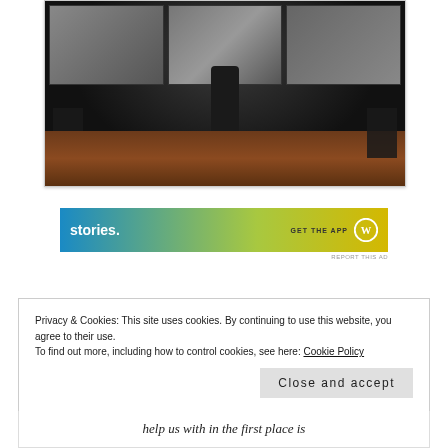[Figure (photo): A person (silhouette) standing on a stage in front of large display screens with photographic images, camera equipment and tripods visible on the sides, dark theatrical setting with wooden stage floor.]
[Figure (screenshot): Advertisement banner with blue-to-yellow gradient reading 'stories.' on the left and 'GET THE APP' with a circular logo on the right.]
REPORT THIS AD
Privacy & Cookies: This site uses cookies. By continuing to use this website, you agree to their use.
To find out more, including how to control cookies, see here: Cookie Policy
Close and accept
help us with in the first place is